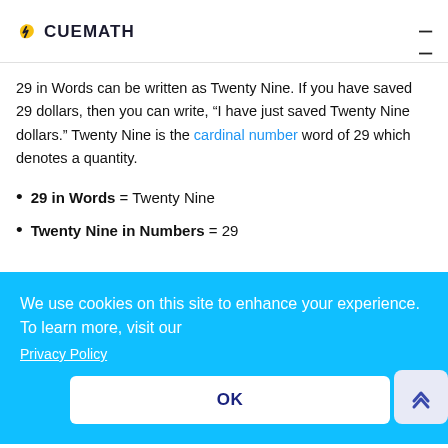CUEMATH
29 in Words can be written as Twenty Nine. If you have saved 29 dollars, then you can write, “I have just saved Twenty Nine dollars.” Twenty Nine is the cardinal number word of 29 which denotes a quantity.
29 in Words = Twenty Nine
Twenty Nine in Numbers = 29
How to write 29 in words
We use cookies on this site to enhance your experience. To learn more, visit our Privacy Policy OK